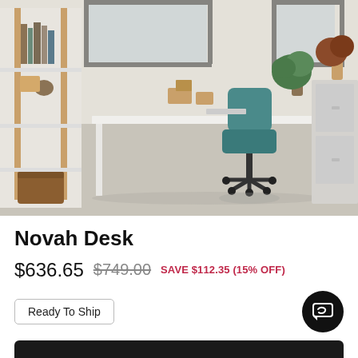[Figure (photo): Modern white desk with teal office chair in a bright home office setting, with a bookshelf on the left, plants, and filing cabinet on the right]
Novah Desk
$636.65  $749.00  SAVE $112.35 (15% OFF)
Ready To Ship